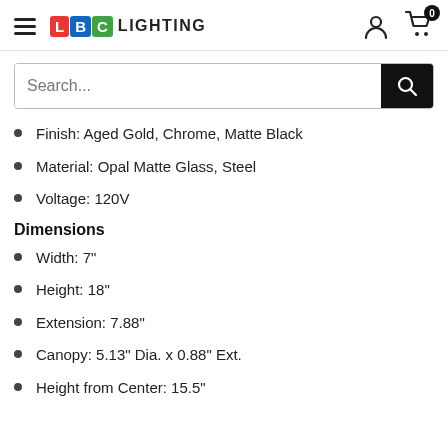LBC LIGHTING — hamburger menu, search bar, user icon, cart icon (0)
Finish: Aged Gold, Chrome, Matte Black
Material: Opal Matte Glass, Steel
Voltage: 120V
Dimensions
Width: 7"
Height: 18"
Extension: 7.88"
Canopy: 5.13" Dia. x 0.88" Ext.
Height from Center: 15.5"